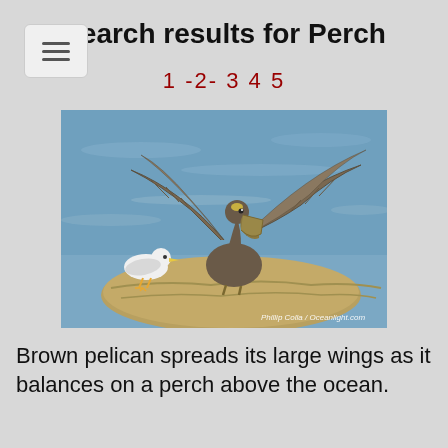[Figure (screenshot): Hamburger menu button in top left corner]
Search results for Perch
1 -2- 3 4 5
[Figure (photo): Brown pelican spreading its large wings while perched on a rock above the ocean, with a seagull standing nearby. Photo credit: Phillip Colla / Oceanlight.com]
Brown pelican spreads its large wings as it balances on a perch above the ocean.